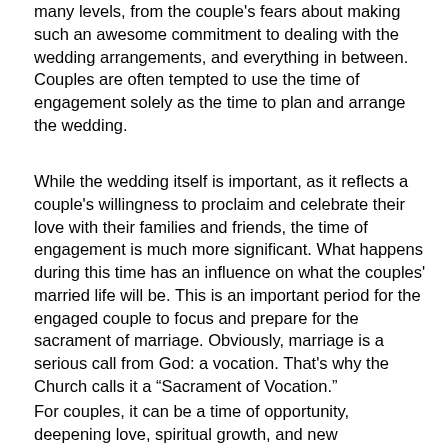many levels, from the couple's fears about making such an awesome commitment to dealing with the wedding arrangements, and everything in between. Couples are often tempted to use the time of engagement solely as the time to plan and arrange the wedding.
While the wedding itself is important, as it reflects a couple's willingness to proclaim and celebrate their love with their families and friends, the time of engagement is much more significant. What happens during this time has an influence on what the couples' married life will be. This is an important period for the engaged couple to focus and prepare for the sacrament of marriage. Obviously, marriage is a serious call from God: a vocation. That's why the Church calls it a “Sacrament of Vocation.”
For couples, it can be a time of opportunity, deepening love, spiritual growth, and new understandings and experiences. For those wishing to enter into Christian